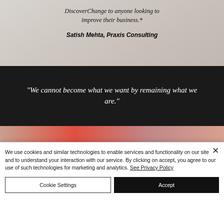[Figure (photo): Partial view of a laptop keyboard and a glass of milk on a light background, serving as a background for a testimonial quote.]
DiscoverChange to anyone looking to improve their business.*
Satish Mehta, Praxis Consulting
[Figure (other): Dark banner with white italic quote text: "We cannot become what we want by remaining what we are."]
[Figure (photo): Partial photo showing a person wearing red, cropped at bottom of frame.]
We use cookies and similar technologies to enable services and functionality on our site and to understand your interaction with our service. By clicking on accept, you agree to our use of such technologies for marketing and analytics. See Privacy Policy
Cookie Settings
Accept